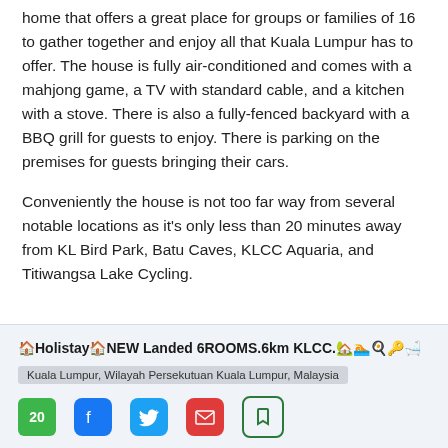home that offers a great place for groups or families of 16 to gather together and enjoy all that Kuala Lumpur has to offer. The house is fully air-conditioned and comes with a mahjong game, a TV with standard cable, and a kitchen with a stove. There is also a fully-fenced backyard with a BBQ grill for guests to enjoy. There is parking on the premises for guests bringing their cars.
Conveniently the house is not too far way from several notable locations as it's only less than 20 minutes away from KL Bird Park, Batu Caves, KLCC Aquaria, and Titiwangsa Lake Cycling.
🏠Holistay🏠NEW Landed 6ROOMS.6km KLCC.🏡🏊🍳🔑🛁
Kuala Lumpur, Wilayah Persekutuan Kuala Lumpur, Malaysia